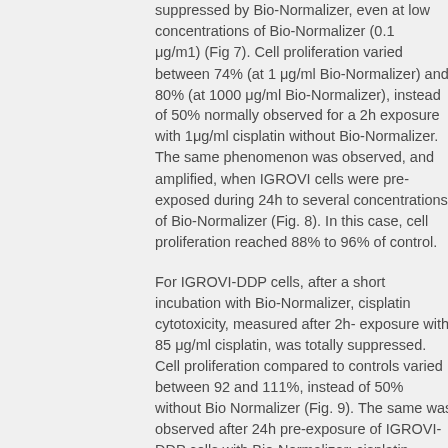suppressed by Bio-Normalizer, even at low concentrations of Bio-Normalizer (0.1 μg/m1) (Fig 7). Cell proliferation varied between 74% (at 1 μg/ml Bio-Normalizer) and 80% (at 1000 μg/ml Bio-Normalizer), instead of 50% normally observed for a 2h exposure with 1μg/ml cisplatin without Bio-Normalizer. The same phenomenon was observed, and amplified, when IGROVI cells were pre-exposed during 24h to several concentrations of Bio-Normalizer (Fig. 8). In this case, cell proliferation reached 88% to 96% of control.
For IGROVI-DDP cells, after a short incubation with Bio-Normalizer, cisplatin cytotoxicity, measured after 2h- exposure with 85 μg/ml cisplatin, was totally suppressed. Cell proliferation compared to controls varied between 92 and 111%, instead of 50% without Bio Normalizer (Fig. 9). The same was observed after 24h pre-exposure of IGROVI-DDP cells with Bio-Normalizer; cisplatin cytotoxicity was nearly totally suppressed with cell proliferation rates between 82 and 100% instead of 50% (Fig. 10).